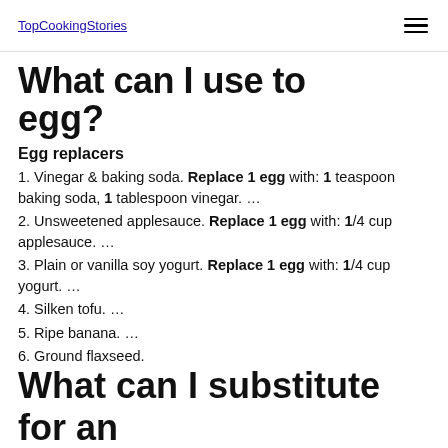TopCookingStories
What can I use to replace 1 egg?
Egg replacers
1. Vinegar & baking soda. Replace 1 egg with: 1 teaspoon baking soda, 1 tablespoon vinegar. …
2. Unsweetened applesauce. Replace 1 egg with: 1/4 cup applesauce. …
3. Plain or vanilla soy yogurt. Replace 1 egg with: 1/4 cup yogurt. …
4. Silken tofu. …
5. Ripe banana. …
6. Ground flaxseed.
What can I substitute for an